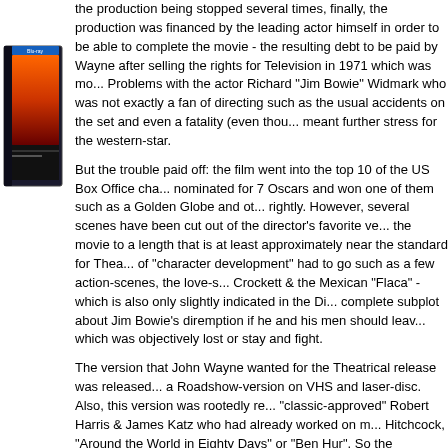[Figure (photo): Blu-ray or DVD cover of a movie, showing orange/flame imagery on a dark background, partially visible on the left side of the page.]
the production being stopped several times, finally, the production was financed by the leading actor himself in order to be able to complete the movie - the resulting debt to be paid by Wayne after selling the rights for Television in 1971 which was more... Problems with the actor Richard "Jim Bowie" Widmark who was not exactly a fan of directing such as the usual accidents on the set and even a fatality (even though...) meant further stress for the western-star.

But the trouble paid off: the film went into the top 10 of the US Box Office chart, nominated for 7 Oscars and won one of them such as a Golden Globe and others rightly. However, several scenes have been cut out of the director's favorite version of the movie to a length that is at least approximately near the standard for Theatrical... of "character development" had to go such as a few action-scenes, the love-story of Crockett & the Mexican "Flaca" - which is also only slightly indicated in the Dir... complete subplot about Jim Bowie's diremption if he and his men should leave a battle which was objectively lost or stay and fight.

The version that John Wayne wanted for the Theatrical release was released as a Roadshow-version on VHS and laser-disc. Also, this version was rootedly re-stored by "classic-approved" Robert Harris & James Katz who had already worked on movies by Hitchcock, "Around the World in Eighty Days" or "Ben Hur". So the "Restored Director's Cut" was made. This version is clearly superior to the shortened Theatrical version as it erases several plot holes, allows the audience to identify with the characters i...